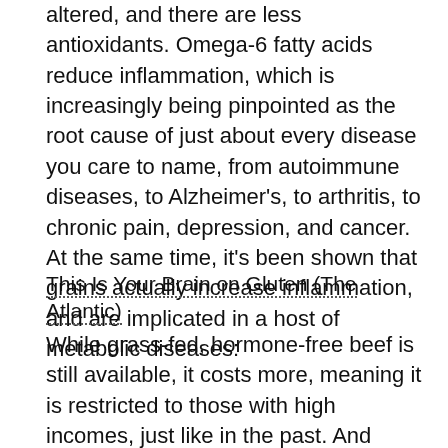altered, and there are less antioxidants. Omega-6 fatty acids reduce inflammation, which is increasingly being pinpointed as the root cause of just about every disease you care to name, from autoimmune diseases, to Alzheimer's, to arthritis, to chronic pain, depression, and cancer. At the same time, it's been shown that grains actually increase inflammation, and are implicated in a host of metabolic diseases:
This Is Your Brain on Gluten (The Atlantic)
While grass-fed, hormone-free beef is still available, it costs more, meaning it is restricted to those with high incomes, just like in the past. And hunting is still primarily an elite sport for the rich in